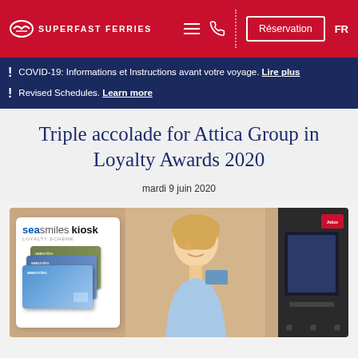SUPERFAST FERRIES — Réservation — FR
COVID-19: Informations et Instructions avant votre voyage. Lire plus
Revised Schedules. Learn more
Triple accolade for Attica Group in Loyalty Awards 2020
mardi 9 juin 2020
[Figure (photo): Seasmiles kiosk loyalty scheme image showing stacked seasmiles loyalty cards on a white card panel, and a woman smiling while holding a card at a dark kiosk machine with Attico branding]